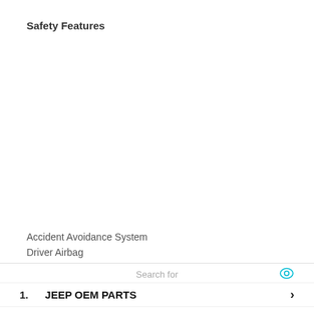Safety Features
Accident Avoidance System
Driver Airbag
[Figure (infographic): Yahoo Search sponsored ad box with 'Search for' header, two search result links: 1. JEEP OEM PARTS and 2. CUSTOM JEEP WRANGLER, with chevron arrows, eye icon, and Yahoo Search | Sponsored footer with play icon.]